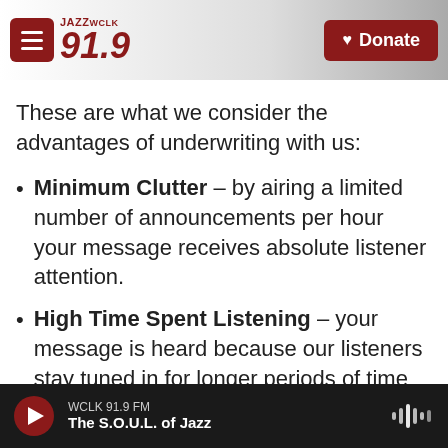[Figure (logo): Jazz WCLK 91.9 FM radio station logo with hamburger menu button and Donate button in header]
These are what we consider the advantages of underwriting with us:
Minimum Clutter – by airing a limited number of announcements per hour your message receives absolute listener attention.
High Time Spent Listening – your message is heard because our listeners stay tuned in for longer periods of time during the day.
WCLK 91.9 FM
The S.O.U.L. of Jazz